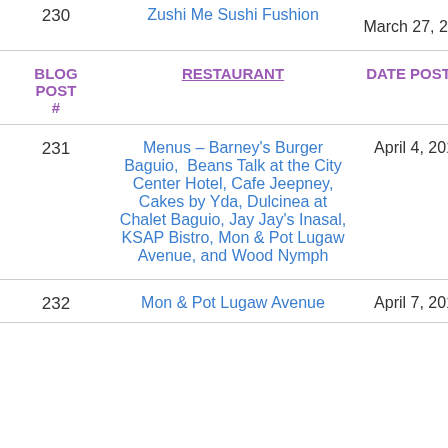| BLOG POST # | RESTAURANT | DATE POSTED |
| --- | --- | --- |
| 230 | Zushi Me Sushi Fushion | March 27, 2014 |
| 231 | Menus – Barney's Burger Baguio,  Beans Talk at the City Center Hotel, Cafe Jeepney, Cakes by Yda, Dulcinea at Chalet Baguio, Jay Jay's Inasal, KSAP Bistro, Mon & Pot Lugaw Avenue, and Wood Nymph | April 4, 2014 |
| 232 | Mon & Pot Lugaw Avenue | April 7, 2014 |